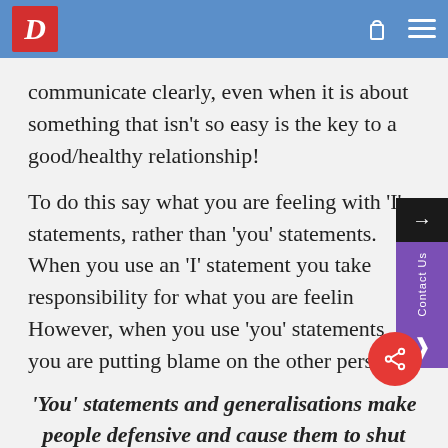D [logo]
communicate clearly, even when it is about something that isn't so easy is the key to a good/healthy relationship!
To do this say what you are feeling with 'I' statements, rather than 'you' statements.  When you use an 'I' statement you take responsibility for what you are feeling. However, when you use 'you' statements you are putting blame on the other person.
'You' statements and generalisations make people defensive and cause them to shut down.
Then make sure that the other person understood what you meant so you avoid the Ross and Rachel type